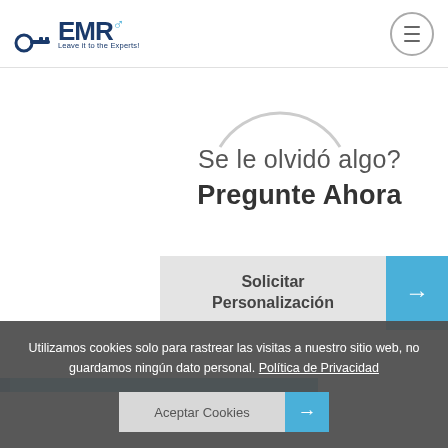EMR Leave it to the Experts!
[Figure (logo): EMR logo with key icon and tagline 'Leave it to the Experts!']
[Figure (illustration): Partial circle arc graphic]
Se le olvidó algo?
Pregunte Ahora
Solicitar Personalización →
Utilizamos cookies solo para rastrear las visitas a nuestro sitio web, no guardamos ningún dato personal. Política de Privacidad
Aceptar Cookies →